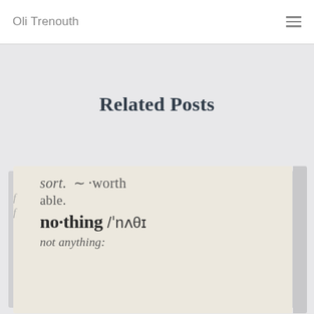Oli Trenouth
Related Posts
[Figure (photo): Close-up photo of a dictionary page showing the word 'no·thing' with phonetic transcription /ˈnʌθɪŋ/ and definition text including 'sort.', 'able.', 'not anything:']